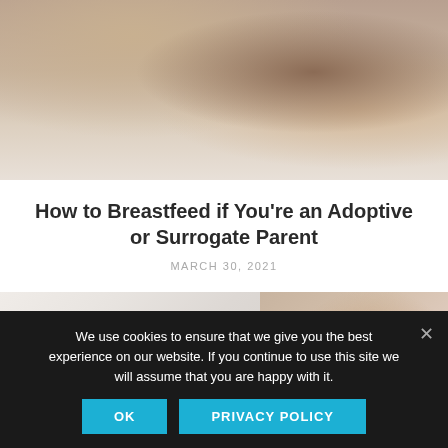[Figure (photo): Close-up photo of a woman with wavy blonde hair breastfeeding a newborn baby. The woman is wearing a patterned shirt. The baby's head is visible in the foreground.]
How to Breastfeed if You’re an Adoptive or Surrogate Parent
MARCH 30, 2021
[Figure (photo): A partially visible photo showing a person breastfeeding a baby, with soft neutral tones. The right portion shows a close-up of a baby nursing.]
We use cookies to ensure that we give you the best experience on our website. If you continue to use this site we will assume that you are happy with it.